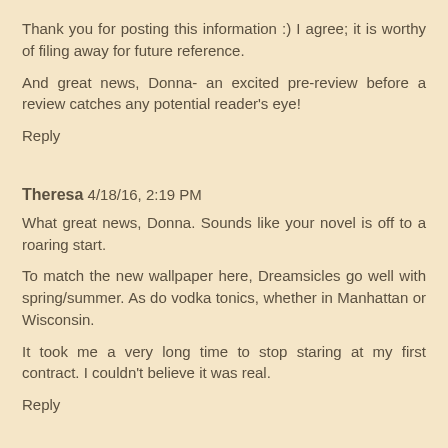Thank you for posting this information :) I agree; it is worthy of filing away for future reference.
And great news, Donna- an excited pre-review before a review catches any potential reader's eye!
Reply
Theresa 4/18/16, 2:19 PM
What great news, Donna. Sounds like your novel is off to a roaring start.
To match the new wallpaper here, Dreamsicles go well with spring/summer. As do vodka tonics, whether in Manhattan or Wisconsin.
It took me a very long time to stop staring at my first contract. I couldn't believe it was real.
Reply